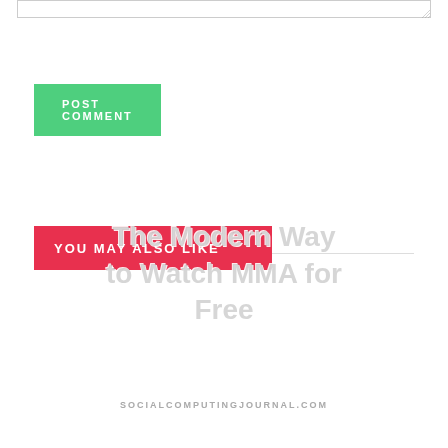[Figure (screenshot): Textarea input box with resize handle at top of page]
POST COMMENT
YOU MAY ALSO LIKE
The Modern Way to Watch MMA for Free
SOCIALCOMPUTINGJOURNAL.COM